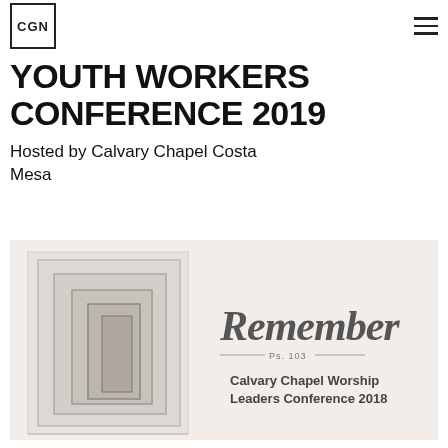CGN
YOUTH WORKERS CONFERENCE 2019
Hosted by Calvary Chapel Costa Mesa
[Figure (illustration): Conference promotional image showing a perspective hallway of doorways on the left and cursive 'Remember' text with 'Ps. 103' and 'Calvary Chapel Worship Leaders Conference 2018' text on the right, on a light beige/white background.]